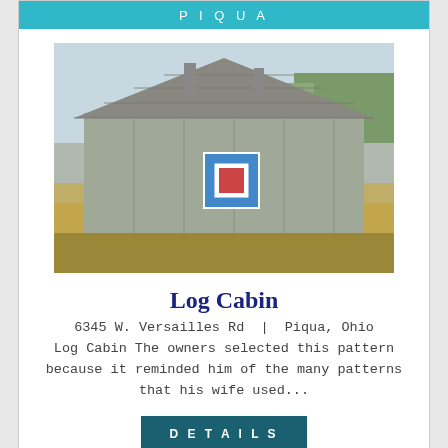PIQUA
[Figure (photo): Old weathered gray barn with metal roof, corn stalks in foreground, quilt square pattern on barn side]
Log Cabin
6345 W. Versailles Rd  |  Piqua, Ohio
Log Cabin The owners selected this pattern because it reminded him of the many patterns that his wife used...
DETAILS
WEST MILTON
[Figure (photo): Red barn with white roof, quilt square pattern on side showing leaf/maple design, green fields in background]